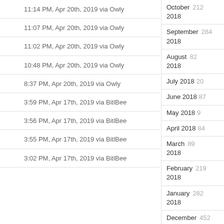11:14 PM, Apr 20th, 2019 via Owly
11:07 PM, Apr 20th, 2019 via Owly
11:02 PM, Apr 20th, 2019 via Owly
10:48 PM, Apr 20th, 2019 via Owly
8:37 PM, Apr 20th, 2019 via Owly
3:59 PM, Apr 17th, 2019 via BitlBee
3:56 PM, Apr 17th, 2019 via BitlBee
3:55 PM, Apr 17th, 2019 via BitlBee
3:02 PM, Apr 17th, 2019 via BitlBee
October 2018 212
September 2018 284
August 2018 82
July 2018 20
June 2018 87
May 2018 9
April 2018 84
March 2018 89
February 2018 219
January 2018 282
December 2017 452
November 2017 180